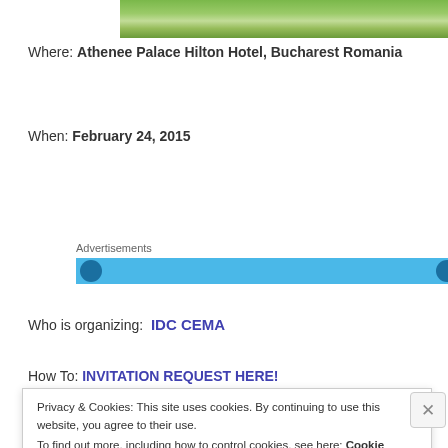[Figure (photo): Partial view of green grass/turf, top portion of page]
Where: Athenee Palace Hilton Hotel, Bucharest Romania
When: February 24, 2015
Advertisements
[Figure (other): Advertisement banner strip in blue]
Who is organizing: IDC CEMA
How To: INVITATION REQUEST HERE!
Privacy & Cookies: This site uses cookies. By continuing to use this website, you agree to their use.
To find out more, including how to control cookies, see here: Cookie Policy
Close and accept